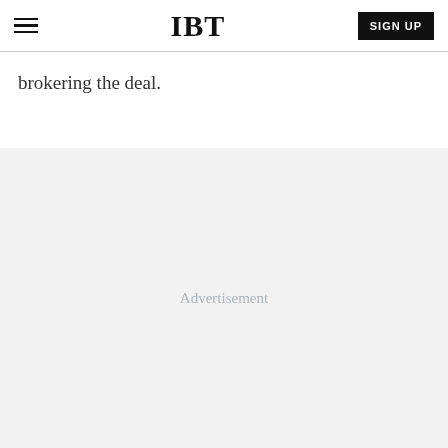IBT | SIGN UP
brokering the deal.
[Figure (other): Advertisement placeholder area with light gray background and 'Advertisement' label text centered]